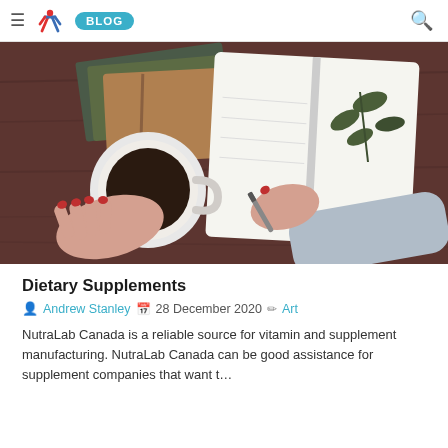≡ [SMi logo] BLOG [search icon]
[Figure (photo): Overhead view of a woman's hands holding a white coffee mug and writing in an open notebook on a wooden table, with stacked journals and a plant sprig visible]
Dietary Supplements
Andrew Stanley  28 December 2020  Art
NutraLab Canada is a reliable source for vitamin and supplement manufacturing. NutraLab Canada can be good assistance for supplement companies that want t…